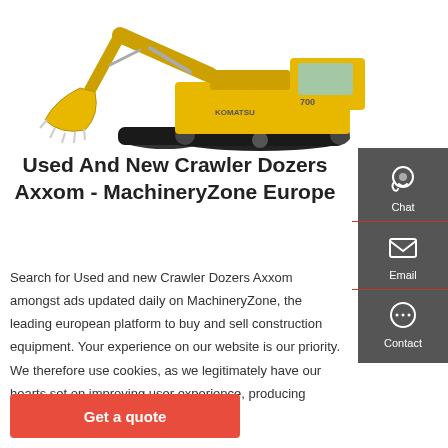[Figure (photo): Yellow crawler excavator (Komatsu) on white background, showing front bucket arm and full body with tracks]
Used And New Crawler Dozers Axxom - MachineryZone Europe
Search for Used and new Crawler Dozers Axxom amongst ads updated daily on MachineryZone, the leading european platform to buy and sell construction equipment. Your experience on our website is our priority. We therefore use cookies, as we legitimately have our hearts set on improving user experience, producing statistics and offering ad
Get a quote